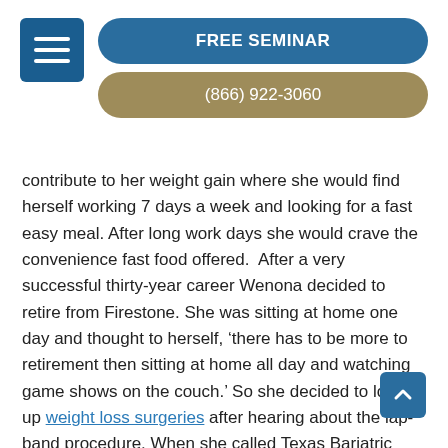[Figure (other): Hamburger menu button (navy blue square with three white horizontal lines)]
[Figure (other): FREE SEMINAR button (teal rounded rectangle with white text)]
[Figure (other): (866) 922-3060 phone button (gold/tan rounded rectangle with white text)]
contribute to her weight gain where she would find herself working 7 days a week and looking for a fast easy meal. After long work days she would crave the convenience fast food offered.  After a very successful thirty-year career Wenona decided to retire from Firestone. She was sitting at home one day and thought to herself, ‘there has to be more to retirement then sitting at home all day and watching game shows on the couch.’ So she decided to look up weight loss surgeries after hearing about the lap-band procedure. When she called Texas Bariatric Specialists she was surprised how quickly she was able to be seen, ‘I knew they had a lot of locations throughout